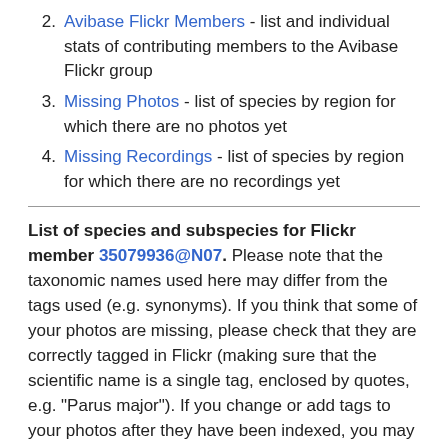2. Avibase Flickr Members - list and individual stats of contributing members to the Avibase Flickr group
3. Missing Photos - list of species by region for which there are no photos yet
4. Missing Recordings - list of species by region for which there are no recordings yet
List of species and subspecies for Flickr member 35079936@N07. Please note that the taxonomic names used here may differ from the tags used (e.g. synonyms). If you think that some of your photos are missing, please check that they are correctly tagged in Flickr (making sure that the scientific name is a single tag, enclosed by quotes, e.g. "Parus major"). If you change or add tags to your photos after they have been indexed, you may need to request a re-indexing of your photostream, which you can do on this page. Also note that new photos may not appear for a period of up to 48h.